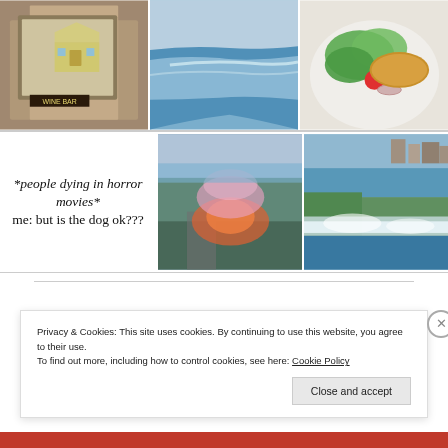[Figure (photo): Three photos in a row: painting of a yellow house/shed in a bar setting, close-up of Niagara Falls waterfall, plate of salad with tomatoes and fried food]
[Figure (photo): Text meme: '*people dying in horror movies* me: but is the dog ok???' on white background]
[Figure (photo): Aerial view of fire/smoke with pink hue near a waterway at dusk]
[Figure (photo): Aerial view of Niagara Falls with city and greenery]
Privacy & Cookies: This site uses cookies. By continuing to use this website, you agree to their use.
To find out more, including how to control cookies, see here: Cookie Policy
Close and accept